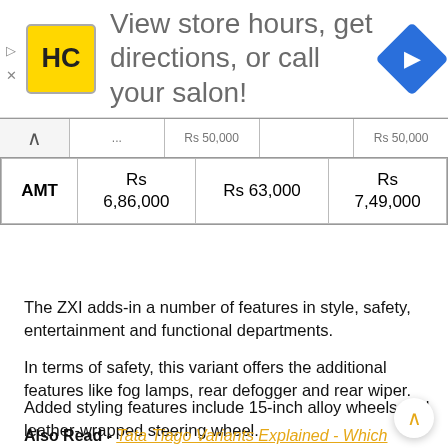[Figure (other): Advertisement banner: HC salon logo (yellow square with HC text), text 'View store hours, get directions, or call your salon!', blue diamond navigation icon on right]
|  |  |  |  |
| --- | --- | --- | --- |
| (partial row) | Rs 50,000 |  | Rs 50,000 |
| AMT | Rs 6,86,000 | Rs 63,000 | Rs 7,49,000 |
The ZXI adds-in a number of features in style, safety, entertainment and functional departments.
In terms of safety, this variant offers the additional features like fog lamps, rear defogger and rear wiper.
Added styling features include 15-inch alloy wheels and leather-wrapped steering wheel.
Also Read - Tata Tiago Variants Explained - Which